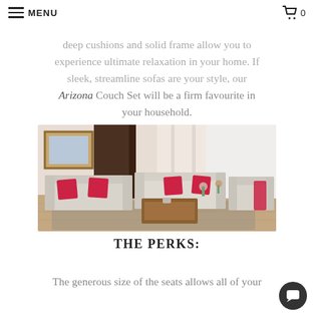MENU  0
deep cushions and solid frame allow you to experience ultimate relaxation in your home. If sleek, streamline sofas are your style, our Arizona Couch Set will be a firm favourite in your household.
[Figure (photo): Living room scene showing a white/light grey sofa set (two sofas and one armchair) with red accent pillows, arranged around a wooden coffee table on a patterned rug, with dark brown curtains and a framed picture in the background.]
THE PERKS:
The generous size of the seats allows all of your